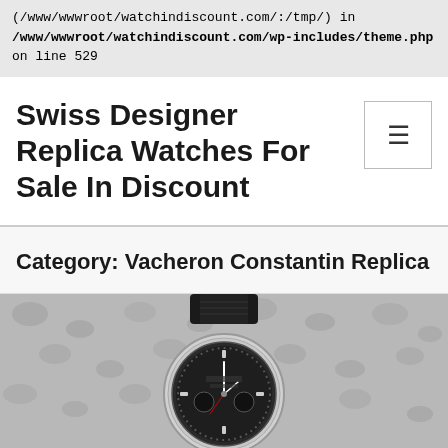(/www/wwwroot/watchindiscount.com/:/tmp/) in /www/wwwroot/watchindiscount.com/wp-includes/theme.php on line 529
Swiss Designer Replica Watches For Sale In Discount
Category: Vacheron Constantin Replica
[Figure (photo): Black and white close-up photo of a Vacheron Constantin replica watch with dark dial, chronograph subdials, and black leather strap on a textured background.]